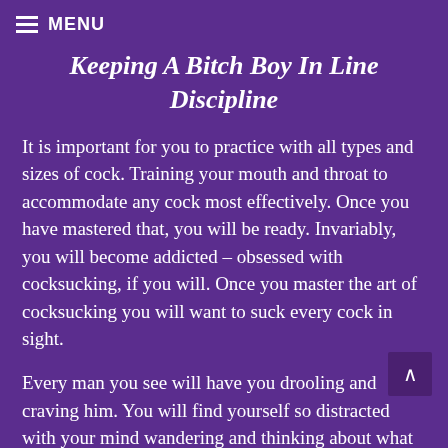≡ MENU
Keeping A Bitch Boy In Line Discipline
It is important for you to practice with all types and sizes of cock. Training your mouth and throat to accommodate any cock most effectively. Once you have mastered that, you will be ready. Invariably, you will become addicted – obsessed with cocksucking, if you will. Once you master the art of cocksucking you will want to suck every cock in sight.
Every man you see will have you drooling and craving him. You will find yourself so distracted with your mind wandering and thinking about what kind of cock this one has or that one, etc. Is that one circumcised or not?, etc.
You won't be able to quench your thirst for cum or satisfy